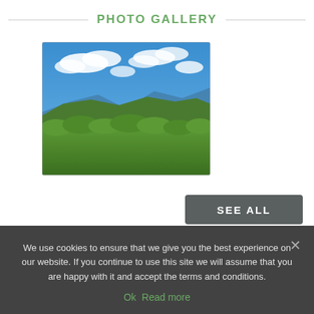PHOTO GALLERY
[Figure (photo): Landscape photo showing green forested hills under a blue sky with white clouds]
SEE ALL
MAP
We use cookies to ensure that we give you the best experience on our website. If you continue to use this site we will assume that you are happy with it and accept the terms and conditions.
Ok   Read more